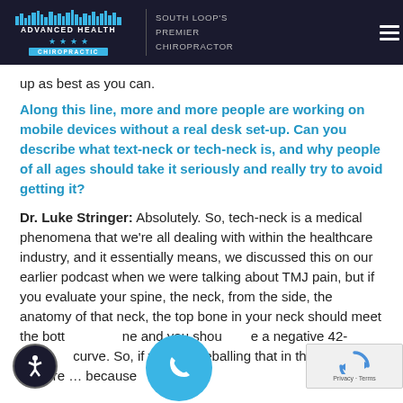Advanced Health Chiropractic — South Loop's Premier Chiropractor
up as best as you can.
Along this line, more and more people are working on mobile devices without a real desk set-up. Can you describe what text-neck or tech-neck is, and why people of all ages should take it seriously and really try to avoid getting it?
Dr. Luke Stringer: Absolutely. So, tech-neck is a medical phenomena that we're all dealing with within the healthcare industry, and it essentially means, we discussed this on our earlier podcast when we were talking about TMJ pain, but if you evaluate your spine, the neck, from the side, the anatomy of that neck, the top bone in your neck should meet the bottom one and you should have a negative 42-degree curve. So, if you're eyeballing that in the mirror, posture … because